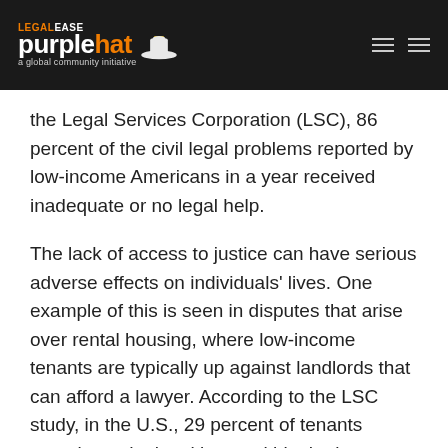LEGALEASE purplehat — a global community initiative
the Legal Services Corporation (LSC), 86 percent of the civil legal problems reported by low-income Americans in a year received inadequate or no legal help.
The lack of access to justice can have serious adverse effects on individuals' lives. One example of this is seen in disputes that arise over rental housing, where low-income tenants are typically up against landlords that can afford a lawyer. According to the LSC study, in the U.S., 29 percent of tenants experienced a legal issue within the last year, including where landlords failed to provide basic